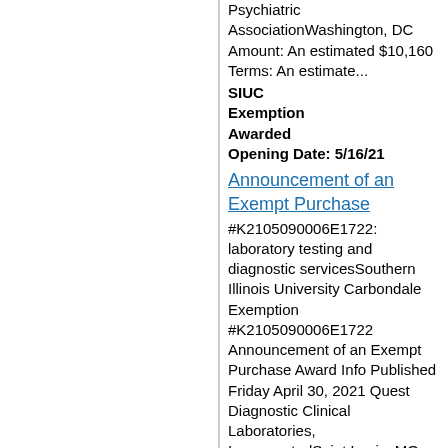PsychiatricAssociationWashington, DC Amount: An estimated $10,160 Terms: An estimate...
SIUC Exemption Awarded Opening Date: 5/16/21
Announcement of an Exempt Purchase #K2105090006E1722: laboratory testing and diagnostic servicesSouthern Illinois University Carbondale Exemption #K2105090006E1722 Announcement of an Exempt Purchase Award Info Published Friday April 30, 2021 Quest Diagnostic Clinical Laboratories, IncorporatedSaint Louis, MO Amount: An estimated $2...
SIUC Exemption Awarded Opening Date: 5/2/21
Announcement of an